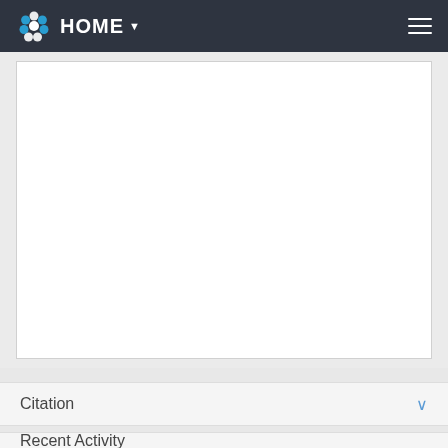HOME
[Figure (other): White content area box, empty]
Citation
Recent Activity